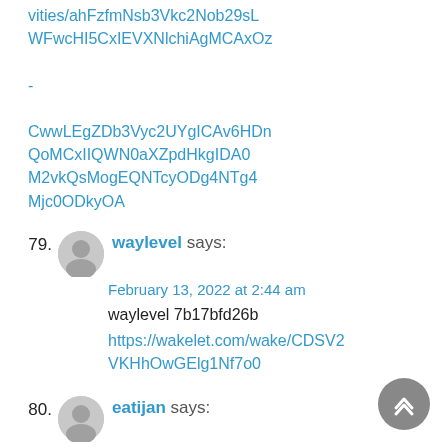https://www.cdsn.org/activities/ahFzfmNsb3Vkc2Nob29sL WFwcHI5CxIEVXNlchiAgMCAxOz -CwwLEgZDb3Vyc2UYgICAv6HDn QoMCxIIQWN0aXZpdHkgIDA0 M2vkQsMogEQNTcyODg4NTg4 Mjc0ODkyOA
79. waylevel says:
February 13, 2022 at 2:44 am
waylevel 7b17bfd26b
https://wakelet.com/wake/CDSV2VKHhOwGElg1Nf7o0
80. eatijan says:
February 13, 2022 at 4:12 am